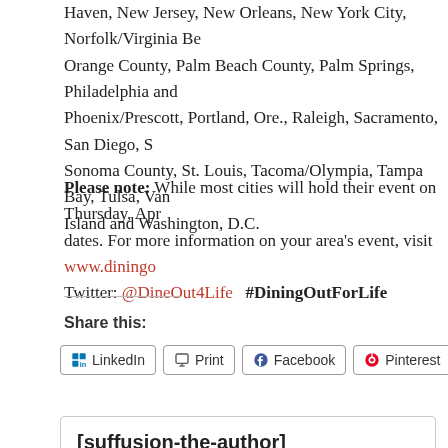Haven, New Jersey, New Orleans, New York City, Norfolk/Virginia Be... Orange County, Palm Beach County, Palm Springs, Philadelphia and... Phoenix/Prescott, Portland, Ore., Raleigh, Sacramento, San Diego, S... Sonoma County, St. Louis, Tacoma/Olympia, Tampa Bay, Tulsa, Van... Island and Washington, D.C.
Please note: While most cities will hold their event on Thursday, Apr... dates. For more information on your area's event, visit www.diningo... Twitter: @DineOut4Life  #DiningOutForLife
Share this:
LinkedIn  Print  Facebook  Pinterest  Twitter
[suffusion-the-author]
[suffusion-the-author display='description']
Posted by Valerie Menard at 11:31 am   Tag...
Sorry, the comment form is closed at this time.